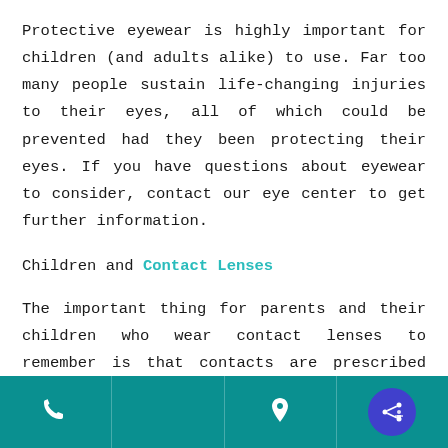Protective eyewear is highly important for children (and adults alike) to use. Far too many people sustain life-changing injuries to their eyes, all of which could be prevented had they been protecting their eyes. If you have questions about eyewear to consider, contact our eye center to get further information.
Children and Contact Lenses
The important thing for parents and their children who wear contact lenses to remember is that contacts are prescribed medical devices. Contact lenses are not a cosmetic accessory. While the wearer may be happy about his or her new look, it's
phone | location | share/accessibility